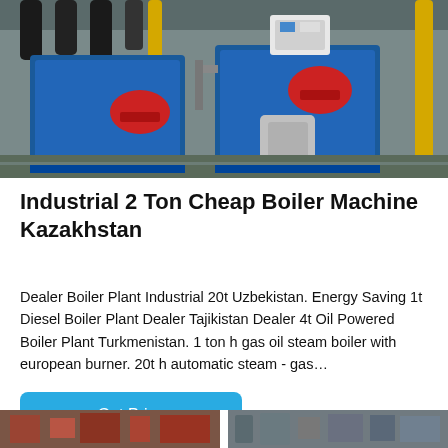[Figure (photo): Industrial boiler room with large blue boiler units, red safety helmets on equipment, yellow pipes, and control panels mounted on the wall.]
Industrial 2 Ton Cheap Boiler Machine Kazakhstan
Dealer Boiler Plant Industrial 20t Uzbekistan. Energy Saving 1t Diesel Boiler Plant Dealer Tajikistan Dealer 4t Oil Powered Boiler Plant Turkmenistan. 1 ton h gas oil steam boiler with european burner. 20t h automatic steam - gas…
[Figure (photo): Partial view of industrial boiler or manufacturing equipment, cropped at the bottom of the page.]